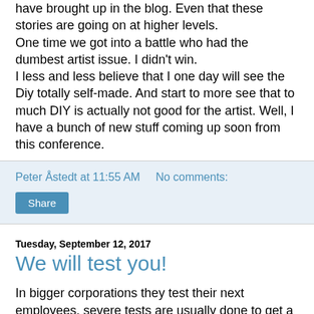have brought up in the blog. Even that these stories are going on at higher levels.
One time we got into a battle who had the dumbest artist issue. I didn't win.
I less and less believe that I one day will see the Diy totally self-made. And start to more see that to much DIY is actually not good for the artist. Well, I have a bunch of new stuff coming up soon from this conference.
Peter Åstedt at 11:55 AM   No comments:
Share
Tuesday, September 12, 2017
We will test you!
In bigger corporations they test their next employees, severe tests are usually done to get a good placement into a company. Why do people think this is not applying on when you seek out artists?